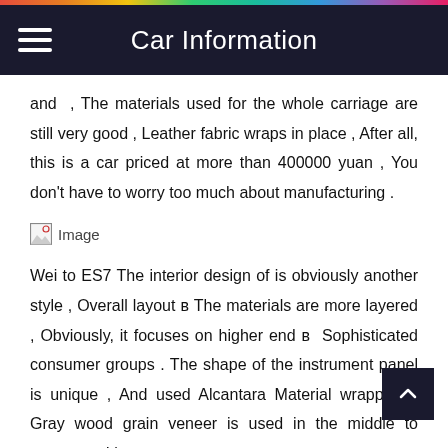Car Information
and , The materials used for the whole carriage are still very good , Leather fabric wraps in place , After all, this is a car priced at more than 400000 yuan , You don't have to worry too much about manufacturing .
[Figure (photo): Broken image placeholder labeled 'Image']
Wei to ES7 The interior design of is obviously another style , Overall layout в The materials are more layered , Obviously, it focuses on higher end в Sophisticated consumer groups . The shape of the instrument panel is unique , And used Alcantara Material wrapping , Gray wood grain veneer is used in the middle to separate , It's